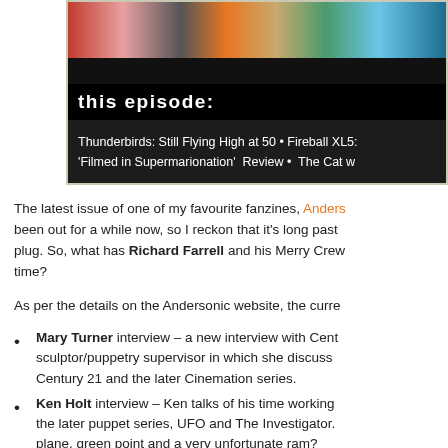[Figure (photo): Top portion of a TV/fanzine episode screenshot showing colourful puppet characters at the top, with a black bar reading 'this episode:' and a dark content bar listing episode contents including Thunderbirds, Fireball XL5, Filmed in Supermarionation Review, The Cat w...]
The latest issue of one of my favourite fanzines, Anders… been out for a while now, so I reckon that it's long past plug. So, what has Richard Farrell and his Merry Crew time?
As per the details on the Andersonic website, the curre…
Mary Turner interview – a new interview with Cent… sculptor/puppetry supervisor in which she discuss… Century 21 and the later Cinemation series.
Ken Holt interview – Ken talks of his time working… the later puppet series, UFO and The Investigator. …plane, green point and a very unfortunate ram?